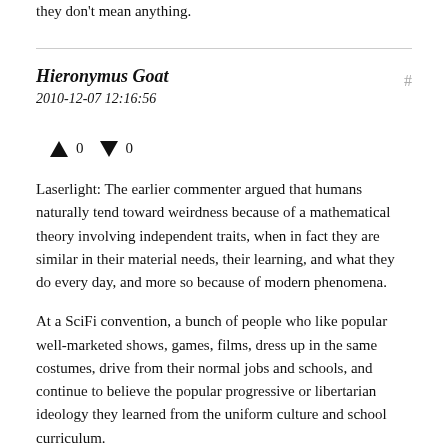they don't mean anything.
Hieronymus Goat
2010-12-07 12:16:56
↑ 0 ↓ 0
Laserlight: The earlier commenter argued that humans naturally tend toward weirdness because of a mathematical theory involving independent traits, when in fact they are similar in their material needs, their learning, and what they do every day, and more so because of modern phenomena.
At a SciFi convention, a bunch of people who like popular well-marketed shows, games, films, dress up in the same costumes, drive from their normal jobs and schools, and continue to believe the popular progressive or libertarian ideology they learned from the uniform culture and school curriculum.
It's so weird that millions of people do it, everyone else knows about it, and entire factories produce costumes, figurines, and